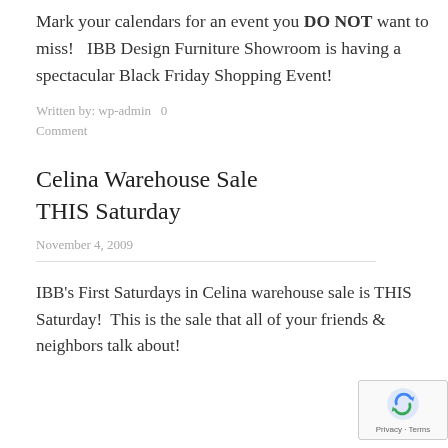Mark your calendars for an event you DO NOT want to miss!   IBB Design Furniture Showroom is having a spectacular Black Friday Shopping Event!
Written by: wp-admin   0 Comment
Celina Warehouse Sale THIS Saturday
November 4, 2009
IBB's First Saturdays in Celina warehouse sale is THIS Saturday!  This is the sale that all of your friends & neighbors talk about!